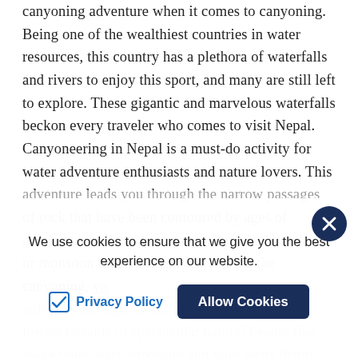canyoning adventure when it comes to canyoning. Being one of the wealthiest countries in water resources, this country has a plethora of waterfalls and rivers to enjoy this sport, and many are still left to explore. These gigantic and marvelous waterfalls beckon every traveler who comes to visit Nepal. Canyoneering in Nepal is a must-do activity for water adventure enthusiasts and nature lovers. This adventure leads you through the narrow passages of rock that have been contoured by ages of gusting water from the snowmelt of the Himalayas or monsoon rain. Further, while doing the canyoning, you will pass through the under of the deepest and lowest terrains of spectacular natural beauty that make your heart throbbing and your heart firmly fixed on nature and its wonders.
We use cookies to ensure that we give you the best experience on our website.
Privacy Policy
Allow Cookies